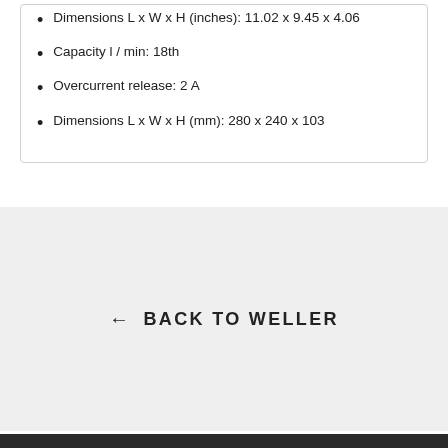Dimensions L x W x H (inches): 11.02 x 9.45 x 4.06
Capacity l / min: 18th
Overcurrent release: 2 A
Dimensions L x W x H (mm): 280 x 240 x 103
← BACK TO WELLER